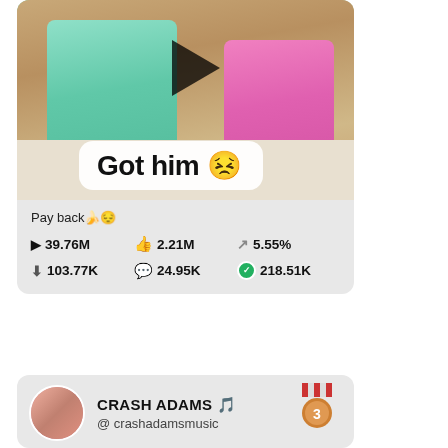[Figure (screenshot): TikTok video thumbnail showing two people at a table, one in teal shirt with tattoos, one in pink. A play button overlay is visible. A white bubble overlay reads 'Got him 😣']
Pay back🍌😔
▶ 39.76M   👍2.21M   ↗5.55%
⬇103.77K   💬24.95K   ✅218.51K
CRASH ADAMS 🎵 @ crashadamsmusic
[Figure (photo): Partial view of second TikTok card with creator profile photo and thumbnail of people]